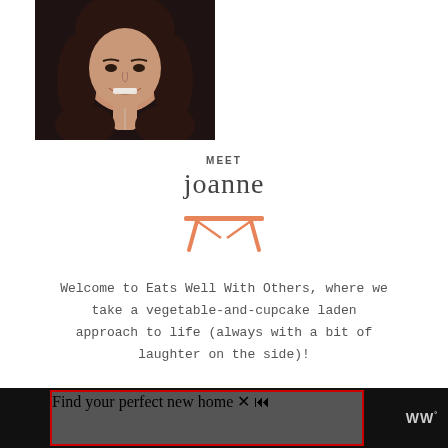[Figure (photo): Portrait photo of a smiling woman with long dark hair, dark background]
MEET joanne
[Figure (illustration): Decorative orange/salmon colored table or trestle icon]
Welcome to Eats Well With Others, where we take a vegetable-and-cupcake laden approach to life (always with a bit of laughter on the side)!
STAY CONNECTED
[Figure (screenshot): Advertisement banner at bottom of page with red border showing outdoor scene and text 'Find your perfect new home']